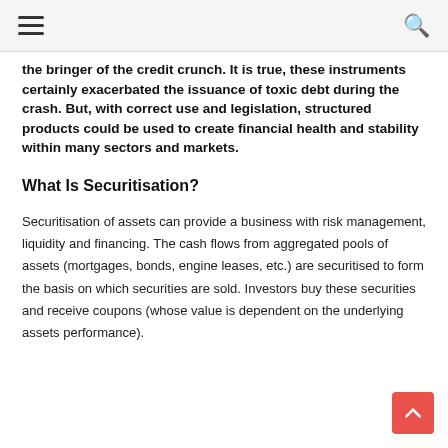[hamburger menu] [search icon]
the bringer of the credit crunch. It is true, these instruments certainly exacerbated the issuance of toxic debt during the crash. But, with correct use and legislation, structured products could be used to create financial health and stability within many sectors and markets.
What Is Securitisation?
Securitisation of assets can provide a business with risk management, liquidity and financing. The cash flows from aggregated pools of assets (mortgages, bonds, engine leases, etc.) are securitised to form the basis on which securities are sold. Investors buy these securities and receive coupons (whose value is dependent on the underlying assets performance).